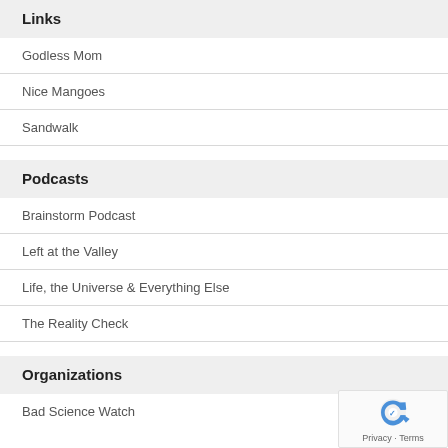Links
Godless Mom
Nice Mangoes
Sandwalk
Podcasts
Brainstorm Podcast
Left at the Valley
Life, the Universe & Everything Else
The Reality Check
Organizations
Bad Science Watch